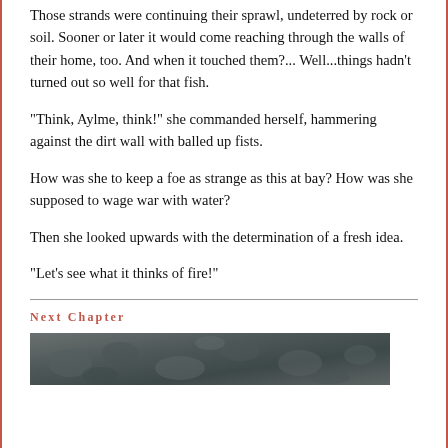Those strands were continuing their sprawl, undeterred by rock or soil. Sooner or later it would come reaching through the walls of their home, too. And when it touched them?... Well...things hadn't turned out so well for that fish.
"Think, Aylme, think!" she commanded herself, hammering against the dirt wall with balled up fists.
How was she to keep a foe as strange as this at bay? How was she supposed to wage war with water?
Then she looked upwards with the determination of a fresh idea.
"Let's see what it thinks of fire!"
Next Chapter
[Figure (photo): Dark rocky/gravel texture image, bottom portion of page]